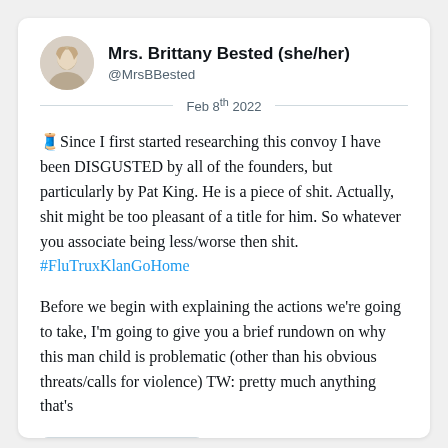Mrs. Brittany Bested (she/her)
@MrsBBested
Feb 8th 2022
🧵Since I first started researching this convoy I have been DISGUSTED by all of the founders, but particularly by Pat King. He is a piece of shit. Actually, shit might be too pleasant of a title for him. So whatever you associate being less/worse then shit. #FluTruxKlanGoHome
Before we begin with explaining the actions we’re going to take, I’m going to give you a brief rundown on why this man child is problematic (other than his obvious threats/calls for violence) TW: pretty much anything that’s
Read 13 tweets